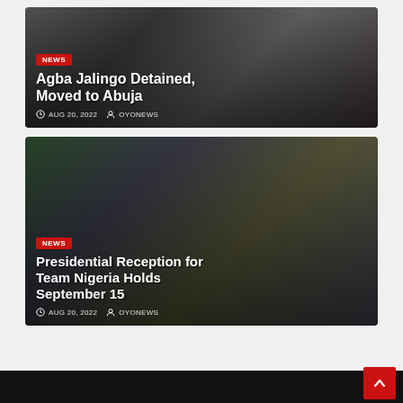[Figure (photo): News card with photo background showing a person wearing a 'Free Society Has A Journalist' t-shirt in what appears to be a courtroom or official setting]
Agba Jalingo Detained, Moved to Abuja
AUG 20, 2022  OYONEWS
[Figure (photo): News card with photo background showing a group of people including someone in traditional Nigerian attire at what appears to be an airport or public venue]
Presidential Reception for Team Nigeria Holds September 15
AUG 20, 2022  OYONEWS